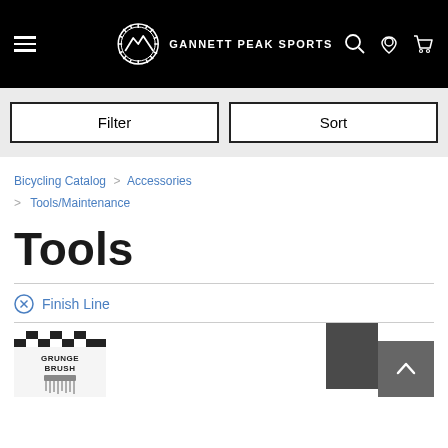GANNETT PEAK SPORTS
Filter
Sort
Bicycling Catalog > Accessories > Tools/Maintenance
Tools
⊗ Finish Line
[Figure (photo): Grunge Brush product thumbnail]
[Figure (photo): Dark rectangular product thumbnail]